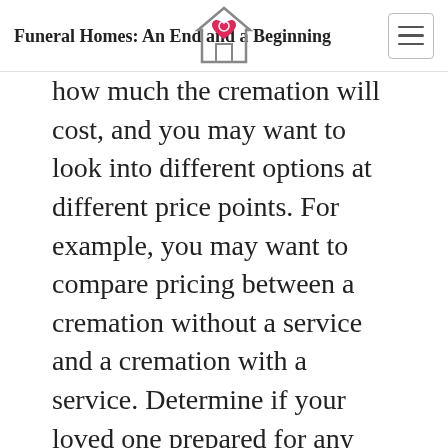Funeral Homes: An End and a Beginning
how much the cremation will cost, and you may want to look into different options at different price points. For example, you may want to compare pricing between a cremation without a service and a cremation with a service. Determine if your loved one prepared for any services, and look into life insurance policies that might have been in place